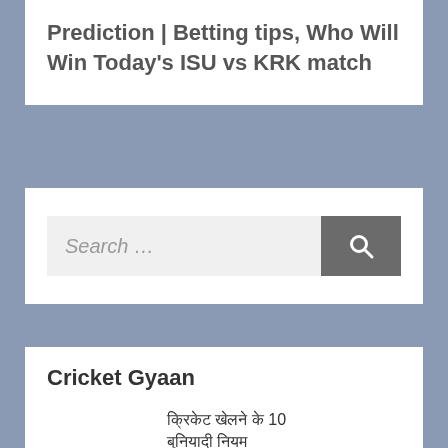Prediction | Betting tips, Who Will Win Today's ISU vs KRK match
Search …
Cricket Gyaan
क्रिकेट खेलने के 10 बुनियादी नियम